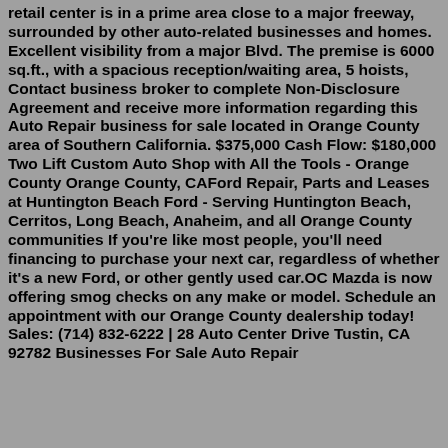retail center is in a prime area close to a major freeway, surrounded by other auto-related businesses and homes. Excellent visibility from a major Blvd. The premise is 6000 sq.ft., with a spacious reception/waiting area, 5 hoists, Contact business broker to complete Non-Disclosure Agreement and receive more information regarding this Auto Repair business for sale located in Orange County area of Southern California. $375,000 Cash Flow: $180,000 Two Lift Custom Auto Shop with All the Tools - Orange County Orange County, CAFord Repair, Parts and Leases at Huntington Beach Ford - Serving Huntington Beach, Cerritos, Long Beach, Anaheim, and all Orange County communities If you're like most people, you'll need financing to purchase your next car, regardless of whether it's a new Ford, or other gently used car.OC Mazda is now offering smog checks on any make or model. Schedule an appointment with our Orange County dealership today! Sales: (714) 832-6222 | 28 Auto Center Drive Tustin, CA 92782 Businesses For Sale Auto Repair